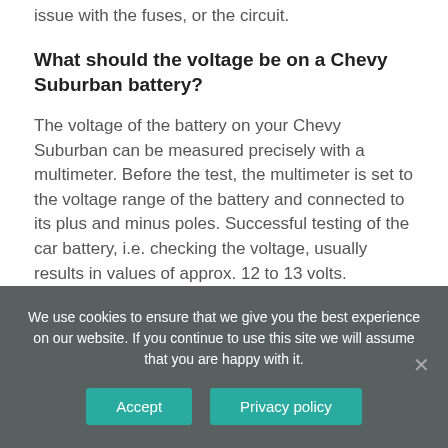issue with the fuses, or the circuit.
What should the voltage be on a Chevy Suburban battery?
The voltage of the battery on your Chevy Suburban can be measured precisely with a multimeter. Before the test, the multimeter is set to the voltage range of the battery and connected to its plus and minus poles. Successful testing of the car battery, i.e. checking the voltage, usually results in values of approx. 12 to 13 volts.
We use cookies to ensure that we give you the best experience on our website. If you continue to use this site we will assume that you are happy with it.